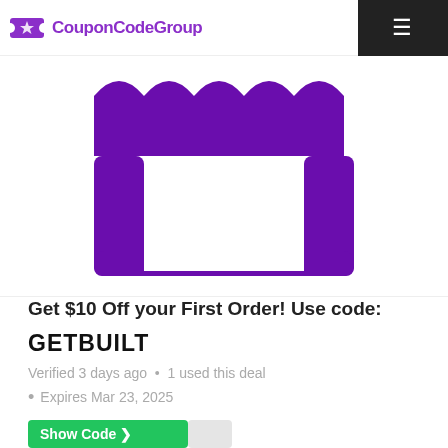CouponCodeGroup
[Figure (logo): Purple store/shop icon with scalloped awning top and rectangular bottom, resembling a marketplace or store front icon]
Get $10 Off your First Order! Use code:
GETBUILT
Verified 3 days ago  •  1 used this deal
Expires Mar 23, 2025